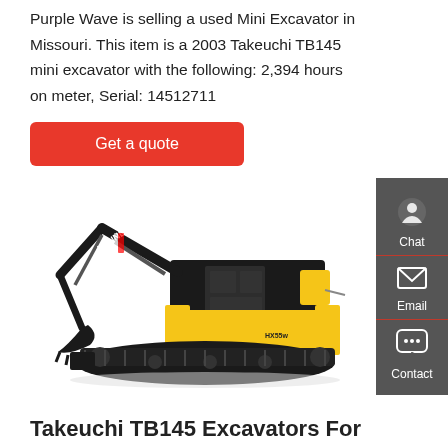Purple Wave is selling a used Mini Excavator in Missouri. This item is a 2003 Takeuchi TB145 mini excavator with the following: 2,394 hours on meter, Serial: 14512711
[Figure (other): Red 'Get a quote' button]
[Figure (photo): Hyundai HX55 mini excavator, black and yellow, shown in side profile on white background]
Takeuchi TB145 Excavators For